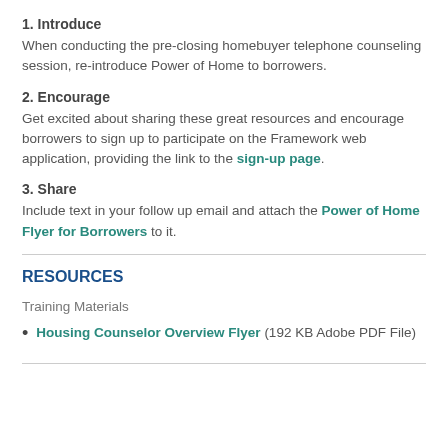1. Introduce
When conducting the pre-closing homebuyer telephone counseling session, re-introduce Power of Home to borrowers.
2. Encourage
Get excited about sharing these great resources and encourage borrowers to sign up to participate on the Framework web application, providing the link to the sign-up page.
3. Share
Include text in your follow up email and attach the Power of Home Flyer for Borrowers to it.
RESOURCES
Training Materials
Housing Counselor Overview Flyer (192 KB Adobe PDF File)